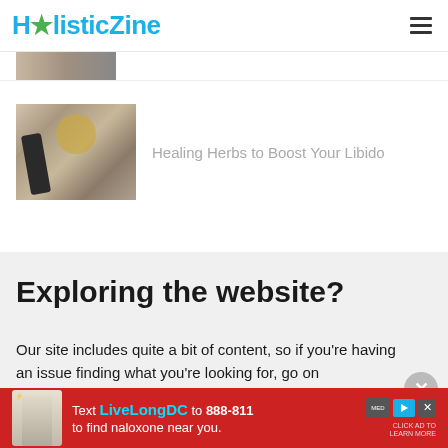HolisticZine
[Figure (photo): Partial thumbnail of an article image at top, cut off]
[Figure (photo): Herbs and essential oil bottles on white background]
Healing Herbs to Boost Your Libido
Exploring the website?
Our site includes quite a bit of content, so if you're having an issue finding what you're looking for, go on
[Figure (infographic): Red advertisement banner: Text LiveLongDC to 888-811 to find naloxone near you.]